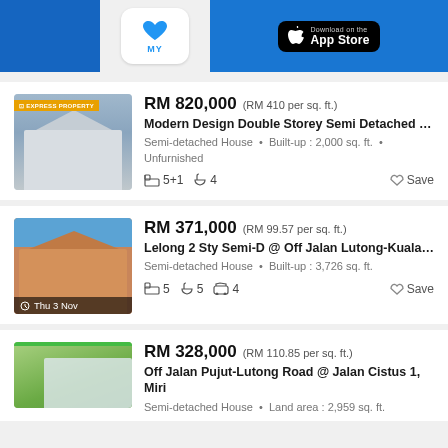[Figure (screenshot): App promotional banner with phone mockup, heart icon with MY text, and App Store download button]
RM 820,000 (RM 410 per sq. ft.) | Modern Design Double Storey Semi Detached at Lua... | Semi-detached House • Built-up : 2,000 sq. ft. • Unfurnished | 5+1 bedrooms, 4 bathrooms | Save
RM 371,000 (RM 99.57 per sq. ft.) | Lelong 2 Sty Semi-D @ Off Jalan Lutong-Kuala Bara... | Semi-detached House • Built-up : 3,726 sq. ft. | 5 bedrooms, 5 bathrooms, 4 car parks | Thu 3 Nov | Save
RM 328,000 (RM 110.85 per sq. ft.) | Off Jalan Pujut-Lutong Road @ Jalan Cistus 1, Miri | Semi-detached House • Land area : 2,959 sq. ft.